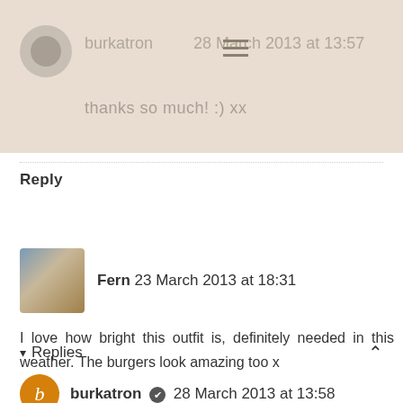burkatron 28 March 2013 at 13:57
thanks so much! :) xx
Reply
Fern 23 March 2013 at 18:31
I love how bright this outfit is, definitely needed in this weather. The burgers look amazing too x
REPLY
▾ Replies
burkatron ✔ 28 March 2013 at 13:58